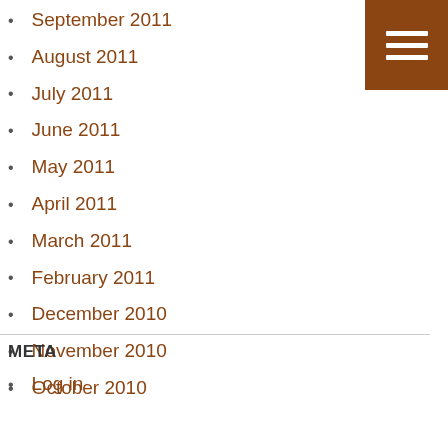September 2011
August 2011
July 2011
June 2011
May 2011
April 2011
March 2011
February 2011
December 2010
November 2010
October 2010
META
Log in